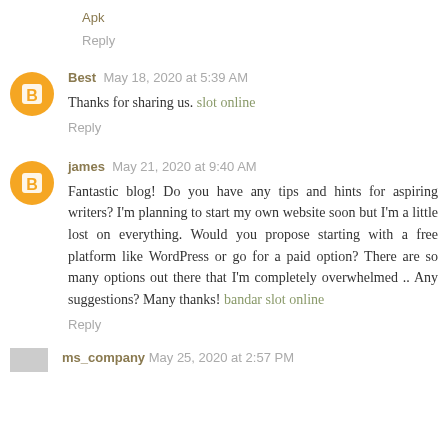Apk
Reply
Best  May 18, 2020 at 5:39 AM
Thanks for sharing us. slot online
Reply
james  May 21, 2020 at 9:40 AM
Fantastic blog! Do you have any tips and hints for aspiring writers? I'm planning to start my own website soon but I'm a little lost on everything. Would you propose starting with a free platform like WordPress or go for a paid option? There are so many options out there that I'm completely overwhelmed .. Any suggestions? Many thanks! bandar slot online
Reply
ms_company  May 25, 2020 at 2:57 PM